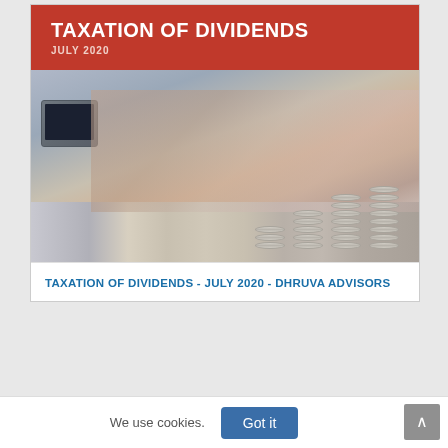[Figure (illustration): Cover image of a financial report titled 'Taxation of Dividends, July 2020' by Dhruva Advisors. The top section has a dark red/rust colored header with white bold text reading 'TAXATION OF DIVIDENDS' and below it 'JULY 2020'. The lower portion shows a blurred photograph of people reviewing documents with stacks of coins in the foreground and a laptop visible on the left.]
TAXATION OF DIVIDENDS - JULY 2020 - DHRUVA ADVISORS
We use cookies.
Got it